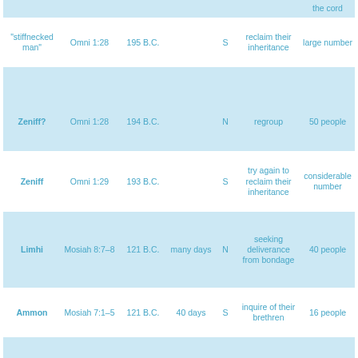| Leader | Reference | Date | Duration | S/N | Purpose | Group Size |
| --- | --- | --- | --- | --- | --- | --- |
| (partial row) |  |  |  |  |  | the cord |
| “stiffnecked man” | Omni 1:28 | 195 B.C. |  | S | reclaim their inheritance | large number |
| Zeniff? | Omni 1:28 | 194 B.C. |  | N | regroup | 50 people |
| Zeniff | Omni 1:29 | 193 B.C. |  | S | try again to reclaim their inheritance | considerable number |
| Limhi | Mosiah 8:7–8 | 121 B.C. | many days | N | seeking deliverance from bondage | 40 people |
| Ammon | Mosiah 7:1–5 | 121 B.C. | 40 days | S | inquire of their brethren | 16 people |
| Alma the Elder | Mosiah 24 | 145–121 B.C. | 21 days | N | escape from bondage | ≈205 people with animals |
| Limhi and his people | Mosiah 22:10–23 | 121 B.C. | many days | N | escape from bondage | many people |